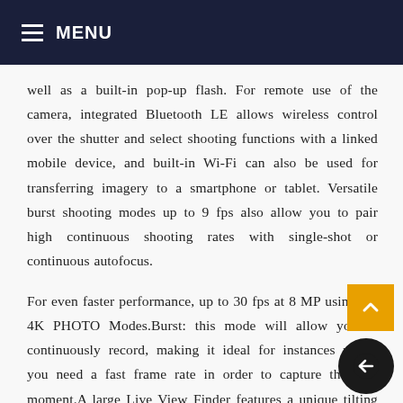MENU
well as a built-in pop-up flash. For remote use of the camera, integrated Bluetooth LE allows wireless control over the shutter and select shooting functions with a linked mobile device, and built-in Wi-Fi can also be used for transferring imagery to a smartphone or tablet. Versatile burst shooting modes up to 9 fps also allow you to pair high continuous shooting rates with single-shot or continuous autofocus.
For even faster performance, up to 30 fps at 8 MP using the 4K PHOTO Modes.Burst: this mode will allow you to continuously record, making it ideal for instances where you need a fast frame rate in order to capture the best moment.A large Live View Finder features a unique tilting design to benefit working low angles and also has an impressive 2.76m-dot resolution and 0.7x magnification.The sleek flat-body